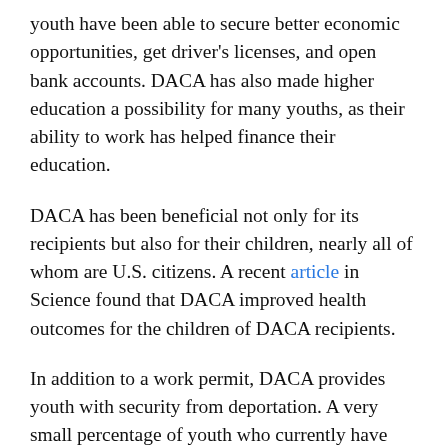youth have been able to secure better economic opportunities, get driver's licenses, and open bank accounts. DACA has also made higher education a possibility for many youths, as their ability to work has helped finance their education.
DACA has been beneficial not only for its recipients but also for their children, nearly all of whom are U.S. citizens. A recent article in Science found that DACA improved health outcomes for the children of DACA recipients.
In addition to a work permit, DACA provides youth with security from deportation. A very small percentage of youth who currently have DACA will leave once their permits expire. The vast majority will stay in the United States – where they will live under the constant threat of deportation.